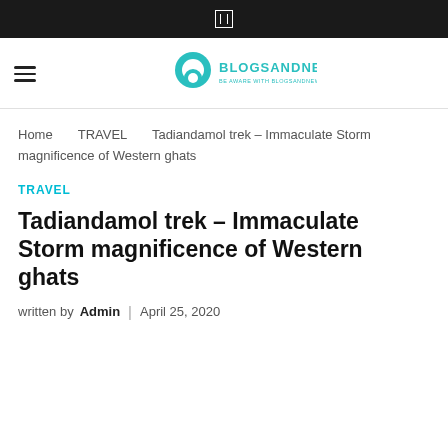[Figure (logo): BlogsAndNews logo with teal circular graphic and text BLOGSANDNEWS]
Home   TRAVEL   Tadiandamol trek – Immaculate Storm magnificence of Western ghats
TRAVEL
Tadiandamol trek – Immaculate Storm magnificence of Western ghats
written by Admin  |  April 25, 2020